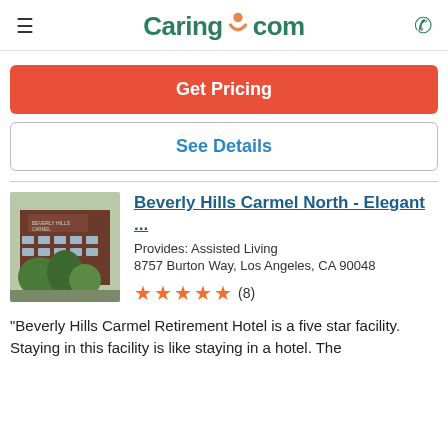Caring.com
Get Pricing
See Details
[Figure (photo): Exterior photo of Beverly Hills Carmel North building with trees in foreground]
Beverly Hills Carmel North - Elegant ...
Provides: Assisted Living
8757 Burton Way, Los Angeles, CA 90048
★★★★★ (8)
"Beverly Hills Carmel Retirement Hotel is a five star facility. Staying in this facility is like staying in a hotel. The